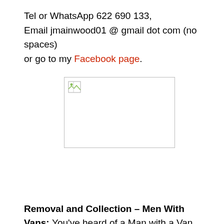Tel or WhatsApp 622 690 133,
Email jmainwood01 @ gmail dot com (no spaces)
or go to my Facebook page.
[Figure (photo): Broken image placeholder — a rectangle with a small broken image icon in the top-left corner]
Removal and Collection – Men With Vans:
You've heard of a Man with a Van, now meet Men with Vans.
For all your local removal needs we have men and